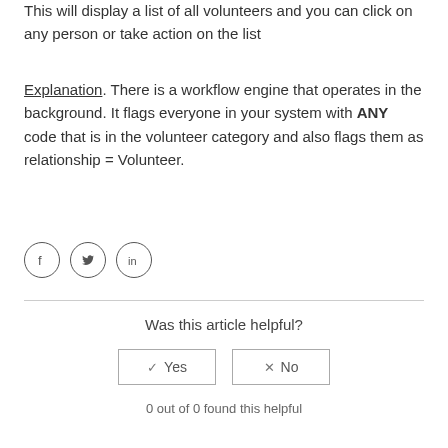This will display a list of all volunteers and you can click on any person or take action on the list
Explanation. There is a workflow engine that operates in the background. It flags everyone in your system with ANY code that is in the volunteer category and also flags them as relationship = Volunteer.
[Figure (other): Social sharing icons: Facebook (f), Twitter (bird), LinkedIn (in)]
Was this article helpful?
Yes / No buttons
0 out of 0 found this helpful